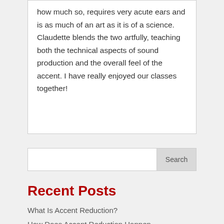how much so, requires very acute ears and is as much of an art as it is of a science. Claudette blends the two artfully, teaching both the technical aspects of sound production and the overall feel of the accent. I have really enjoyed our classes together!
Search
Recent Posts
What Is Accent Reduction?
How Does Accent Reduction Happen...